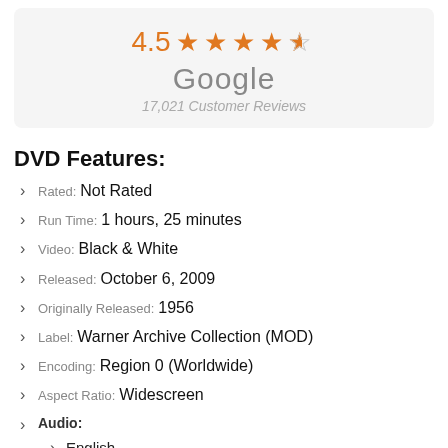[Figure (other): Rating display: 4.5 stars out of 5, showing orange star icons, 'Google' label, and '17,021 Customer Reviews']
DVD Features:
Rated: Not Rated
Run Time: 1 hours, 25 minutes
Video: Black & White
Released: October 6, 2009
Originally Released: 1956
Label: Warner Archive Collection (MOD)
Encoding: Region 0 (Worldwide)
Aspect Ratio: Widescreen
Audio:
English
Performers, Cast and Crew:
Starring: Eve Arden, Gale Gordon & Don Porter